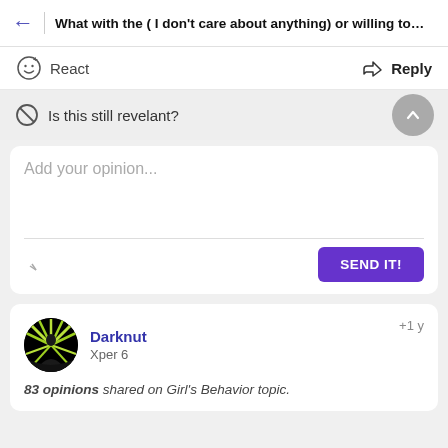What with the ( I don't care about anything) or willing to ...
React   Reply
Is this still revelant?
Add your opinion...
SEND IT!
Darknut
Xper 6
+1 y
83 opinions shared on Girl's Behavior topic.